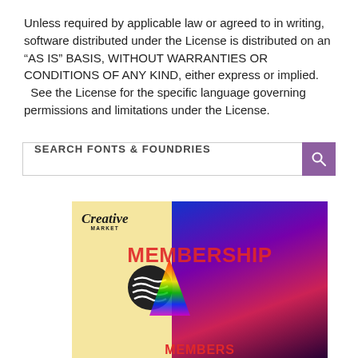Unless required by applicable law or agreed to in writing, software distributed under the License is distributed on an “AS IS” BASIS, WITHOUT WARRANTIES OR CONDITIONS OF ANY KIND, either express or implied.
  See the License for the specific language governing permissions and limitations under the License.
[Figure (screenshot): Search bar with placeholder text 'SEARCH FONTS & FOUNDRIES' and a purple search button with magnifying glass icon]
[Figure (photo): Creative Market membership advertisement banner showing a person with colorful lighting, 'MEMBERSHIP' text in red, 'Creative Market' logo, and 'MEMBERS' text at the bottom]